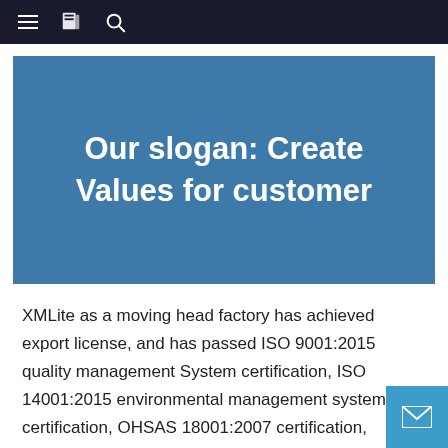≡  [book icon]  🔍
Our slogan: Create Values for customer
XMLite as a moving head factory has achieved export license, and has passed ISO 9001:2015 quality management System certification, ISO 14001:2015 environmental management system certification, OHSAS 18001:2007 certification, intellectual property management system certification, CE, Rosh and other international certification. XMLITE a high-tech